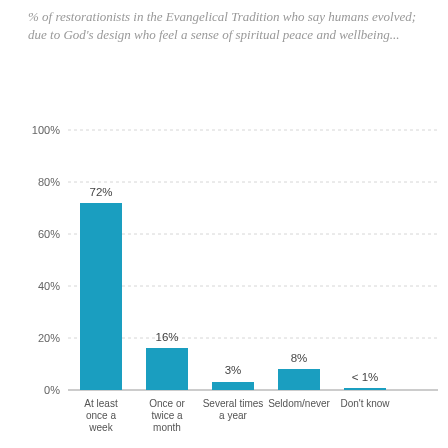% of restorationists in the Evangelical Tradition who say humans evolved; due to God's design who feel a sense of spiritual peace and wellbeing...
[Figure (bar-chart): ]